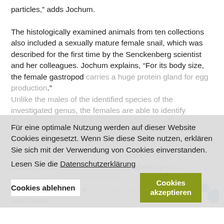particles,” adds Jochum.
The histologically examined animals from ten collections also included a sexually mature female snail, which was described for the first time by the Senckenberg scientist and her colleagues. Jochum explains, “For its body size, the female gastropod carries a huge protein gland for egg production.” Unlike the males of the identified species of the investigated genus, the females are able to identify their location in the cave system. They that enable the snails to perform “mate prospectus.”
"The exploration of the caves of northern Spain is far from complete. Every discovery opens up new possibilities for understanding the survival strategies in this subterranean world,” adds Jochum in conclusion.
Für eine optimale Nutzung werden auf dieser Website Cookies eingesetzt. Wenn Sie diese Seite nutzen, erklären Sie sich mit der Verwendung von Cookies einverstanden.
Lesen Sie die Datenschutzerklärung
Cookies ablehnen
Cookies akzeptieren